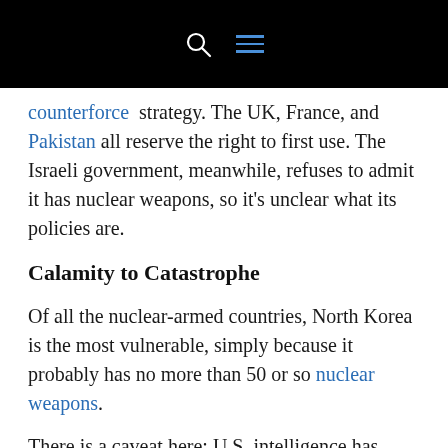[navigation bar with search and menu icons]
counterforce strategy. The UK, France, and Pakistan all reserve the right to first use. The Israeli government, meanwhile, refuses to admit it has nuclear weapons, so it's unclear what its policies are.
Calamity to Catastrophe
Of all the nuclear-armed countries, North Korea is the most vulnerable, simply because it probably has no more than 50 or so nuclear weapons.
There is a caveat here: U.S. intelligence has been consistently wrong on Pyongyang's capabilities. The U.S. underestimated North